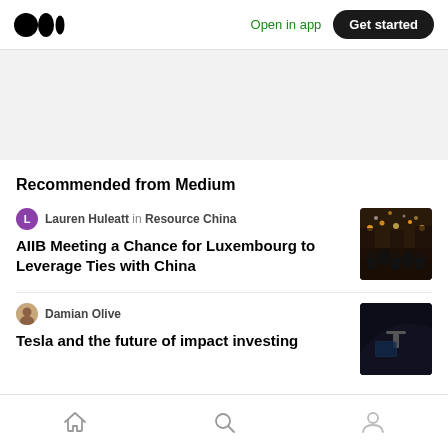Medium logo | Open in app | Get started
Recommended from Medium
Lauren Huleatt in Resource China
AIIB Meeting a Chance for Luxembourg to Leverage Ties with China
[Figure (photo): Nighttime crowd scene in a city square with warm lights]
Damian Olive
Tesla and the future of impact investing
[Figure (photo): Close-up interior shot of a Tesla vehicle dashboard]
Home | Search | Profile navigation icons